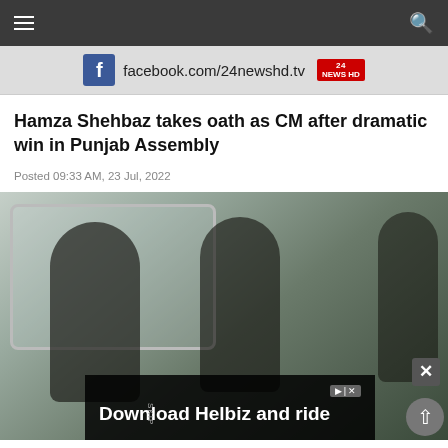Navigation bar with hamburger menu and search icon
[Figure (photo): Facebook advertisement banner showing facebook.com/24newshd.tv with News HD logo]
Hamza Shehbaz takes oath as CM after dramatic win in Punjab Assembly
Posted 09:33 AM, 23 Jul, 2022
[Figure (photo): Photo of armed soldiers/security personnel in camouflage uniforms and balaclavas sitting in a vehicle with weapons. An overlay advertisement reads 'Download Helbiz and ride' with a close button and scroll-to-top button visible.]